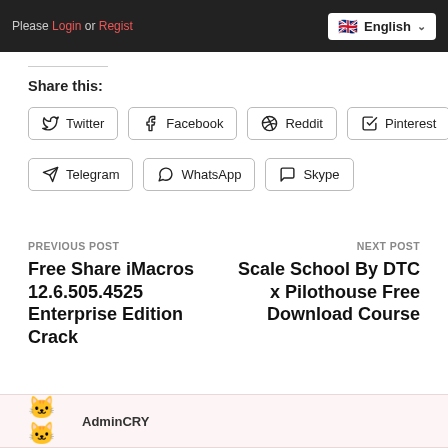[Figure (screenshot): Top navigation bar with 'Please Login or Register' text and English language selector with UK flag]
Share this:
Twitter  Facebook  Reddit  Pinterest
Telegram  WhatsApp  Skype
PREVIOUS POST
Free Share iMacros 12.6.505.4525 Enterprise Edition Crack
NEXT POST
Scale School By DTC x Pilothouse Free Download Course
AdminCRY